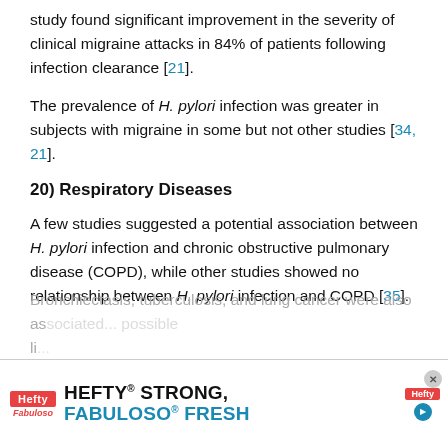study found significant improvement in the severity of clinical migraine attacks in 84% of patients following infection clearance [21].
The prevalence of H. pylori infection was greater in subjects with migraine in some but not other studies [34, 21].
20) Respiratory Diseases
A few studies suggested a potential association between H. pylori infection and chronic obstructive pulmonary disease (COPD), while other studies showed no relationship between H. pylori infection and COPD [35].
Bronchiectasis, tuberculosis, and lung cancer were also as... possible li...
[Figure (other): Advertisement banner for Hefty STRONG and Fabuloso FRESH products]